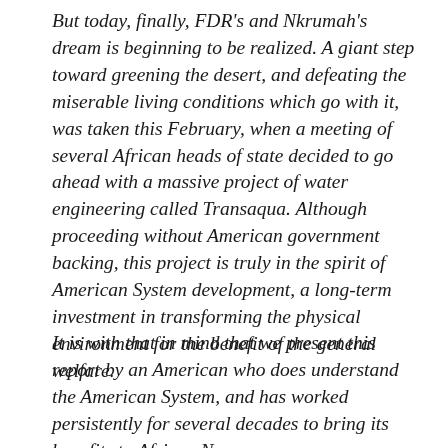But today, finally, FDR's and Nkrumah's dream is beginning to be realized. A giant step toward greening the desert, and defeating the miserable living conditions which go with it, was taken this February, when a meeting of several African heads of state decided to go ahead with a massive project of water engineering called Transaqua. Although proceeding without American government backing, this project is truly in the spirit of American System development, a long-term investment in transforming the physical environment for the benefit of the general welfare.
It is with that in mind that we present this report by an American who does understand the American System, and has worked persistently for several decades to bring its benefits to African N...